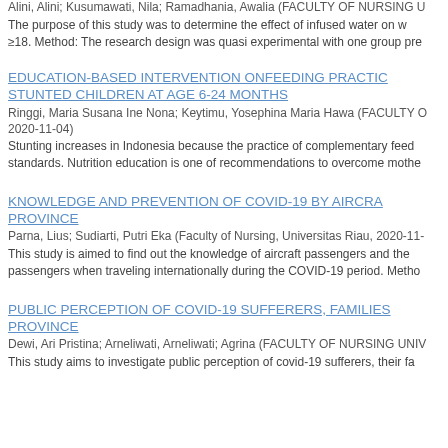Alini, Alini; Kusumawati, Nila; Ramadhania, Awalia (FACULTY OF NURSING U...
The purpose of this study was to determine the effect of infused water on w...
≥18. Method: The research design was quasi experimental with one group pre...
EDUCATION-BASED INTERVENTION ONFEEDING PRACTICES IN STUNTED CHILDREN AT AGE 6-24 MONTHS
Ringgi, Maria Susana Ine Nona; Keytimu, Yosephina Maria Hawa (FACULTY O... 2020-11-04)
Stunting increases in Indonesia because the practice of complementary feed... standards. Nutrition education is one of recommendations to overcome mothe...
KNOWLEDGE AND PREVENTION OF COVID-19 BY AIRCRAFT... PROVINCE
Parna, Lius; Sudiarti, Putri Eka (Faculty of Nursing, Universitas Riau, 2020-11-...
This study is aimed to find out the knowledge of aircraft passengers and the... passengers when traveling internationally during the COVID-19 period. Metho...
PUBLIC PERCEPTION OF COVID-19 SUFFERERS, FAMILIES... PROVINCE
Dewi, Ari Pristina; Arneliwati, Arneliwati; Agrina (FACULTY OF NURSING UNIV...
This study aims to investigate public perception of covid-19 sufferers, their fa...